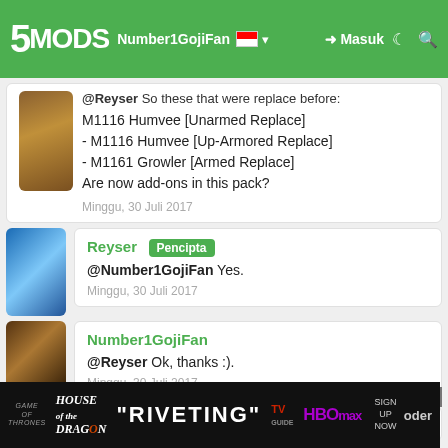5MODS Number1GojiFan [flag] Masuk
@Reyser So these that were replace before:
M1116 Humvee [Unarmed Replace]
- M1116 Humvee [Up-Armored Replace]
- M1161 Growler [Armed Replace]
Are now add-ons in this pack?
Minggu, 30 Juli 2017
Reyser [Pencipta]
@Number1GojiFan Yes.
Minggu, 30 Juli 2017
Number1GojiFan
@Reyser Ok, thanks :).
Minggu, 30 Juli 2017
darkblue
...oder
[Figure (screenshot): Advertisement banner: House of the Dragon - RIVETING - TV - HBO Max Sign Up Now]